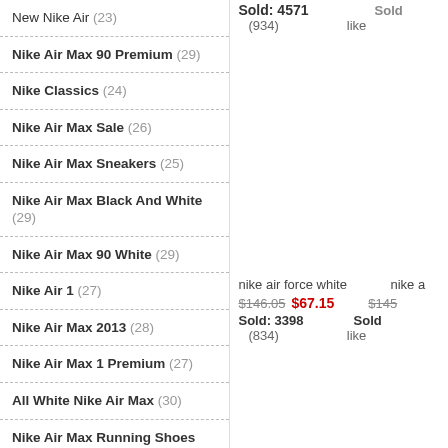New Nike Air (23)
Nike Air Max 90 Premium (29)
Nike Classics (24)
Nike Air Max Sale (26)
Nike Air Max Sneakers (25)
Nike Air Max Black And White (29)
Nike Air Max 90 White (29)
Nike Air 1 (27)
Nike Air Max 2013 (28)
Nike Air Max 1 Premium (27)
All White Nike Air Max (30)
Nike Air Max Running Shoes (28)
Nike Air Max Mens Shoes (25)
Nike Air Max 90 Black (29)
All Black Nike Air Max (28)
All Red Nike Air Max (25)
Sold: 4571
(934)  like
nike air force white
$146.05  $67.15
Sold: 3398
(834)  like